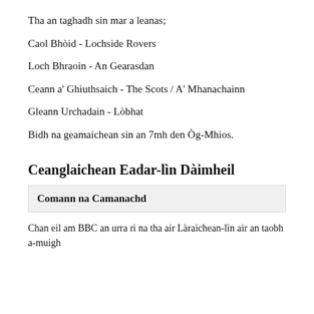Tha an taghadh sin mar a leanas;
Caol Bhòid - Lochside Rovers
Loch Bhraoin - An Gearasdan
Ceann a' Ghiuthsaich - The Scots / A' Mhanachainn
Gleann Urchadain - Lòbhat
Bidh na geamaichean sin an 7mh den Òg-Mhios.
Ceanglaichean Eadar-lìn Dàimheil
Comann na Camanachd
Chan eil am BBC an urra ri na tha air Làraichean-lìn air an taobh a-muigh